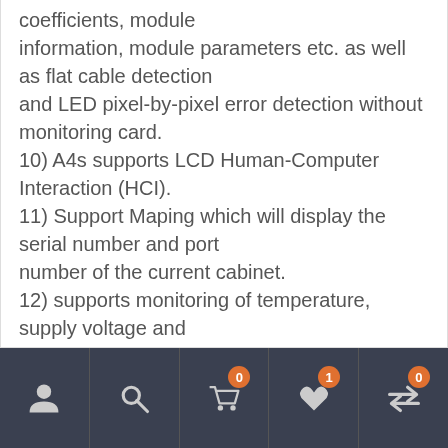coefficients, module information, module parameters etc. as well as flat cable detection and LED pixel-by-pixel error detection without monitoring card.
10) A4s supports LCD Human-Computer Interaction (HCI).
11) Support Maping which will display the serial number and port number of the current cabinet.
12) supports monitoring of temperature, supply voltage and network cable communication status.
13) supports pixel-by-pixel
Navigation bar with user, search, cart (0), wishlist (1), and compare (0) icons